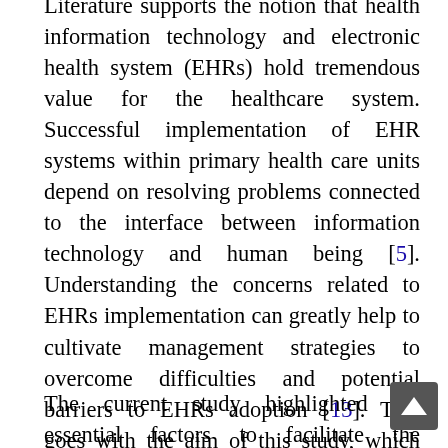Literature supports the notion that health information technology and electronic health system (EHRs) hold tremendous value for the healthcare system. Successful implementation of EHR systems within primary health care units depend on resolving problems connected to the interface between information technology and human being [5]. Understanding the concerns related to EHRs implementation can greatly help to cultivate management strategies to overcome difficulties and potential barriers to EHRs adoption [13]. This goes with the aim of this study, which was to identify factors facilitating or hindering EHRs implementation as perceived by HCPs in primary health care units, Alexandria.
The current study highlighted the essential factors to facilitate the successful implementation of electronic health record EHR at primary health care units which reported by HCPs including selection of suitable EHR system, improve information technology system, motivation and incentives of the users and conservation